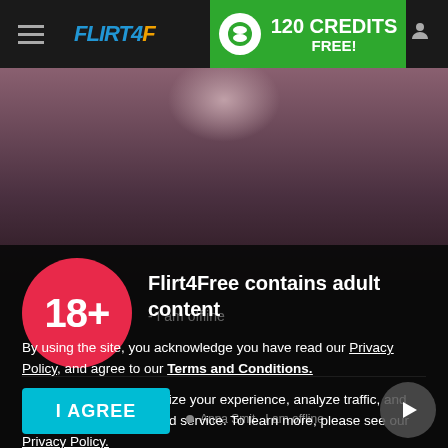FLIRT4FREE — 120 CREDITS FREE!
[Figure (screenshot): Background photo of a woman in lingerie, partially visible, dark toned]
[Figure (infographic): Red circle with 18+ age restriction icon]
Flirt4Free contains adult content
By using the site, you acknowledge you have read our Privacy Policy, and agree to our Terms and Conditions.
We use cookies to optimize your experience, analyze traffic, and deliver more personalized service. To learn more, please see our Privacy Policy.
I AGREE